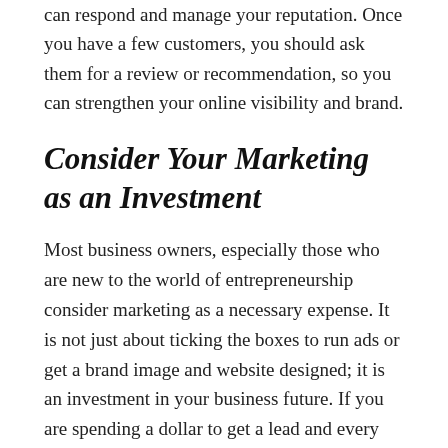can respond and manage your reputation. Once you have a few customers, you should ask them for a review or recommendation, so you can strengthen your online visibility and brand.
Consider Your Marketing as an Investment
Most business owners, especially those who are new to the world of entrepreneurship consider marketing as a necessary expense. It is not just about ticking the boxes to run ads or get a brand image and website designed; it is an investment in your business future. If you are spending a dollar to get a lead and every 20th converts, you will need to make at least five dollars on a sale for your marketing to be worth it. The better your conversion is, the more money you can make using